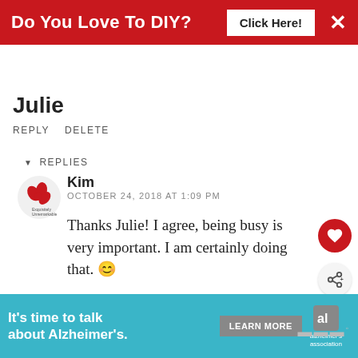Do You Love To DIY? Click Here! ×
Julie
REPLY DELETE
▼ REPLIES
Kim
OCTOBER 24, 2018 AT 1:09 PM
Thanks Julie! I agree, being busy is very important. I am certainly doing that. 😊
DELETE
WHAT'S NEXT → You Can Stand In Line, I'll B...
REPLY
[Figure (infographic): Bottom advertisement banner for Alzheimer's Association: 'It's time to talk about Alzheimer's.' with LEARN MORE button and alzheimer's association logo]